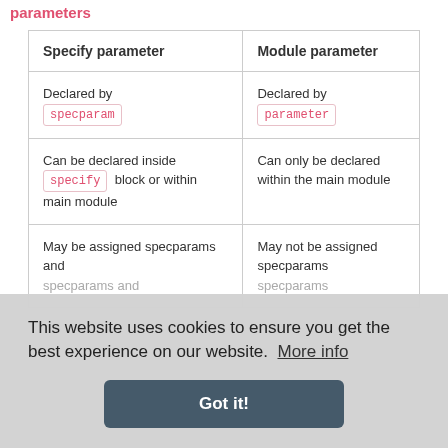parameters
| Specify parameter | Module parameter |
| --- | --- |
| Declared by specparam | Declared by parameter |
| Can be declared inside specify block or within main module | Can only be declared within the main module |
| May be assigned specparams and... | May not be assigned specparams...  parameter  an |
This website uses cookies to ensure you get the best experience on our website.  More info
Got it!